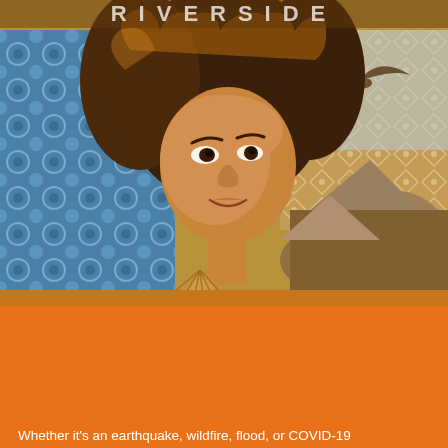[Figure (illustration): Colorful mural-style collage artwork showing a stylized portrait of a woman with curly hair holding a decorative fan, set against blue patterned tiles on the left and a desert landscape with rocks and a flying bird on the right. Partial text at top reads 'RIVERSIDE' in large letters.]
LISTOS CALIFORNIA / RIVERSIDE COUNTY
IT ONLY TAKES FIVE STEPS
Whether it's an earthquake, wildfire, flood, or COVID-19